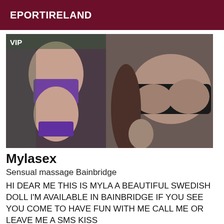EPORTIRELAND
[Figure (photo): Photo of a person in lingerie, mirror selfie with purple and black garments]
Mylasex
Sensual massage Bainbridge
HI DEAR ME THIS IS MYLA A BEAUTIFUL SWEDISH DOLL I'M AVAILABLE IN BAINBRIDGE IF YOU SEE YOU COME TO HAVE FUN WITH ME CALL ME OR LEAVE ME A SMS KISS